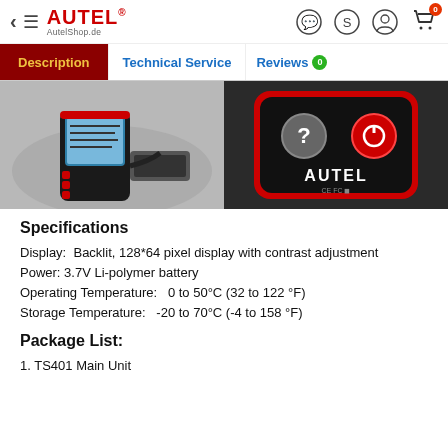Autel AutelShop.de — Navigation and icons header
Description | Technical Service | Reviews 0
[Figure (photo): Two product photos: left shows Autel TS401 TPMS tool plugged into a vehicle OBD port; right shows top view of Autel device with power and help buttons]
Specifications
Display:  Backlit, 128*64 pixel display with contrast adjustment
Power: 3.7V Li-polymer battery
Operating Temperature:   0 to 50°C (32 to 122 °F)
Storage Temperature:   -20 to 70°C (-4 to 158 °F)
Package List:
1. TS401 Main Unit